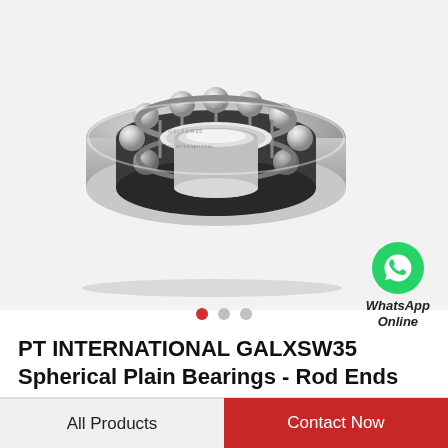[Figure (photo): A steel deep groove ball bearing (open type) shown at an angle on a light gray background. The bearing shows the inner and outer rings, ball retainer cage, and steel balls. Engraving visible on outer ring.]
WhatsApp Online
● ○ ○
PT INTERNATIONAL GALXSW35 Spherical Plain Bearings - Rod Ends
All Products
Contact Now